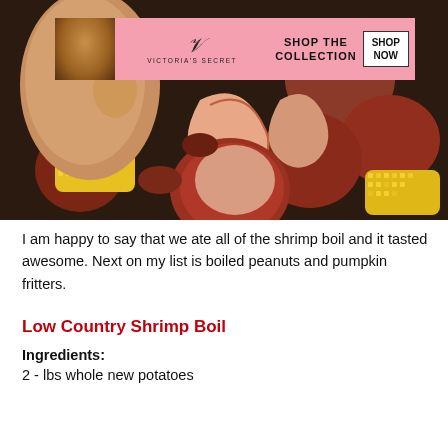[Figure (photo): Close-up photo of a low country shrimp boil with shrimp, red potatoes, corn on the cob, and sausage. A hand is visible holding a shrimp. A Victoria's Secret advertisement banner overlays the top of the image.]
I am happy to say that we ate all of the shrimp boil and it tasted awesome. Next on my list is boiled peanuts and pumpkin fritters.
Low Country Shrimp Boil
Ingredients:
2 - lbs whole new potatoes